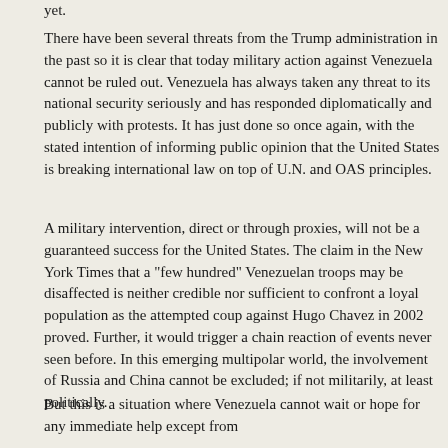yet.
There have been several threats from the Trump administration in the past so it is clear that today military action against Venezuela cannot be ruled out. Venezuela has always taken any threat to its national security seriously and has responded diplomatically and publicly with protests. It has just done so once again, with the stated intention of informing public opinion that the United States is breaking international law on top of U.N. and OAS principles.
A military intervention, direct or through proxies, will not be a guaranteed success for the United States. The claim in the New York Times that a "few hundred" Venezuelan troops may be disaffected is neither credible nor sufficient to confront a loyal population as the attempted coup against Hugo Chavez in 2002 proved. Further, it would trigger a chain reaction of events never seen before. In this emerging multipolar world, the involvement of Russia and China cannot be excluded; if not militarily, at least politically.
But this is a situation where Venezuela cannot wait or hope for any immediate help except from